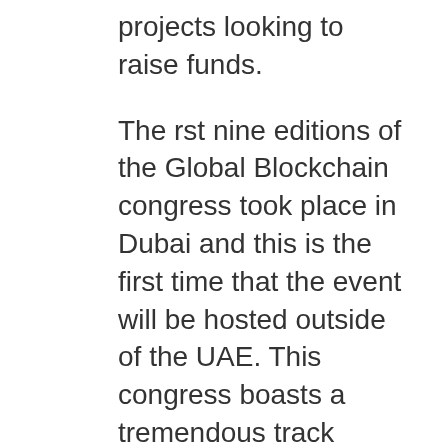projects looking to raise funds.
The rst nine editions of the Global Blockchain congress took place in Dubai and this is the first time that the event will be hosted outside of the UAE. This congress boasts a tremendous track record and success rate where we had hosted more than 1000 investors and more than 250 blockchain startups and were able to raise Millions in funds for our participating projects.
This event will anchor Vietnam's position as a leading adaptor of crypto and a central hub for global innovation. By